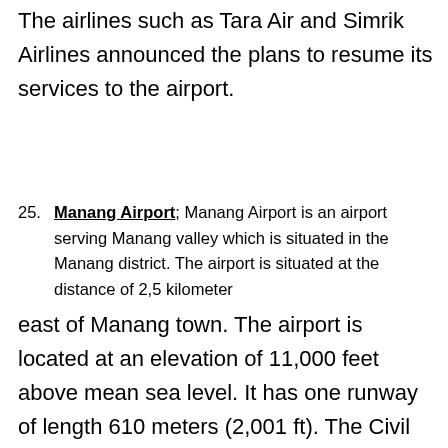The airlines such as Tara Air and Simrik Airlines announced the plans to resume its services to the airport.
Manang Airport; Manang Airport is an airport serving Manang valley which is situated in the Manang district. The airport is situated at the distance of 2,5 kilometer
east of Manang town. The airport is located at an elevation of 11,000 feet above mean sea level. It has one runway of length 610 meters (2,001 ft). The Civil Aviation